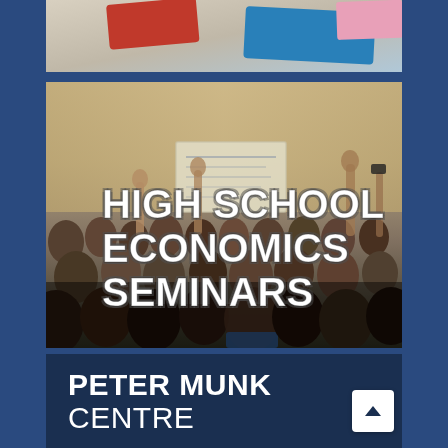[Figure (photo): Partial top strip showing colorful banners or signage, cropped at top]
[Figure (photo): Photograph of a high school economics seminar lecture hall with students raising hands toward a whiteboard/projector screen, overlaid with bold white text reading HIGH SCHOOL ECONOMICS SEMINARS]
HIGH SCHOOL ECONOMICS SEMINARS
PETER MUNK CENTRE